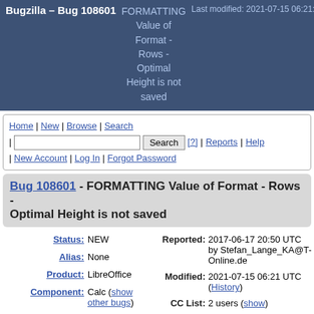Bugzilla – Bug 108601 | FORMATTING Value of Format - Rows - Optimal Height is not saved | Last modified: 2021-07-15 06:21:00
Home | New | Browse | Search | [search box] Search [?] | Reports | Help | New Account | Log In | Forgot Password
Bug 108601 - FORMATTING Value of Format - Rows - Optimal Height is not saved
Status: NEW
Reported: 2017-06-17 20:50 UTC by Stefan_Lange_KA@T-Online.de
Alias: None
Modified: 2021-07-15 06:21 UTC (History)
Product: LibreOffice
CC List: 2 users (show)
Component: Calc (show other bugs)
See Also: Crash report or crash signature:
Version: Inherited From OOo
Hardware: x86-64 (AMD64) All